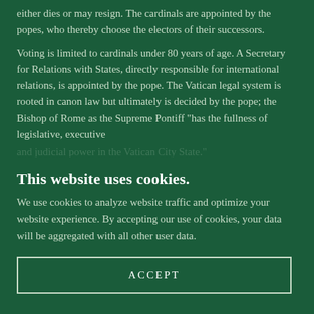either dies or may resign. The cardinals are appointed by the popes, who thereby choose the electors of their successors.
Voting is limited to cardinals under 80 years of age. A Secretary for Relations with States, directly responsible for international relations, is appointed by the pope. The Vatican legal system is rooted in canon law but ultimately is decided by the pope; the Bishop of Rome as the Supreme Pontiff "has the fullness of legislative, executive
[faded/cut-off line]
This website uses cookies.
We use cookies to analyze website traffic and optimize your website experience. By accepting our use of cookies, your data will be aggregated with all other user data.
ACCEPT